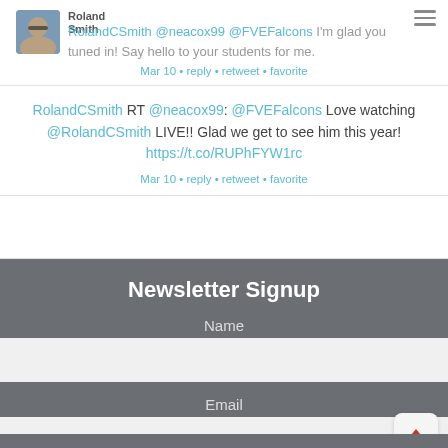RolandCSmith @neacox99 @FVEFalcons I'm glad you tuned in! Say hello to your students for me. Mar 10 • reply • retweet • favorite
RolandCSmith RT @neacox99: @FVEFalcons Love watching @RolandCSmith LIVE!! Glad we get to see him this year! https://t.co/RUPhFYW1rc Mar 10 • reply • retweet • favorite
Newsletter Signup
Name
Email